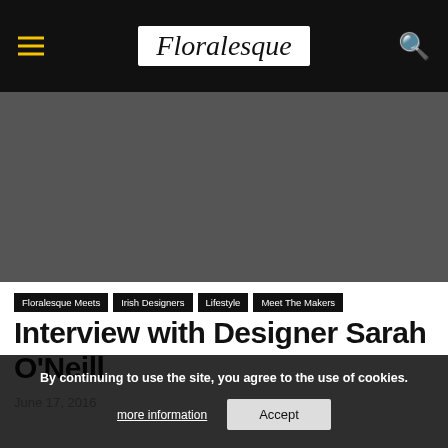Floralesque
[Figure (photo): Dark grey hero image placeholder area]
Floralesque Meets
Irish Designers
Lifestyle
Meet The Makers
Interview with Designer Sarah O'Neill
June 17, 2016
By continuing to use the site, you agree to the use of cookies.
more information   Accept